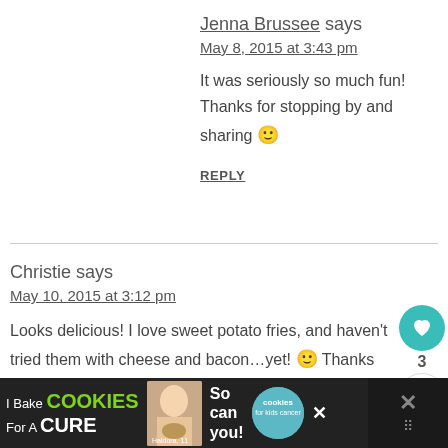Jenna Brussee says
May 8, 2015 at 3:43 pm
It was seriously so much fun! Thanks for stopping by and sharing 🙂
REPLY
Christie says
May 10, 2015 at 3:12 pm
Looks delicious! I love sweet potato fries, and haven't tried them with cheese and bacon…yet! 🙂 Thanks for sharing at Bloggers Brags! This
[Figure (infographic): Advertisement banner: I Bake COOKIES For A CURE with photo of person and cookies for kids cancer badge]